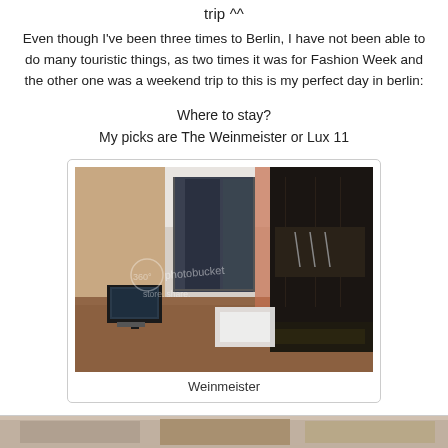trip ^^
Even though I've been three times to Berlin, I have not been able to do many touristic things, as two times it was for Fashion Week and the other one was a weekend trip to this is my perfect day in berlin:
Where to stay?
My picks are The Weinmeister or Lux 11
[Figure (photo): Hotel room interior photo of Weinmeister hotel with modern dark furniture, wardrobe unit, and large windows with curtains. Photobucket watermark visible.]
Weinmeister
[Figure (photo): Partial view of another hotel room at the bottom of the page.]